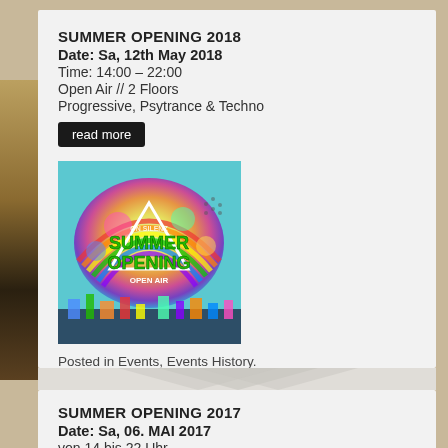SUMMER OPENING 2018
Date: Sa, 12th May 2018
Time: 14:00 – 22:00
Open Air // 2 Floors
Progressive, Psytrance & Techno
read more
[Figure (illustration): Summer Opening 2018 colorful event poster with rainbow, triangle, and text 'SUMMER OPENING OPEN AIR' on a teal/turquoise background with colorful cityscape]
Posted in Events, Events History.
SUMMER OPENING 2017
Date: Sa, 06. MAI 2017
von 14 bis 22 Uhr